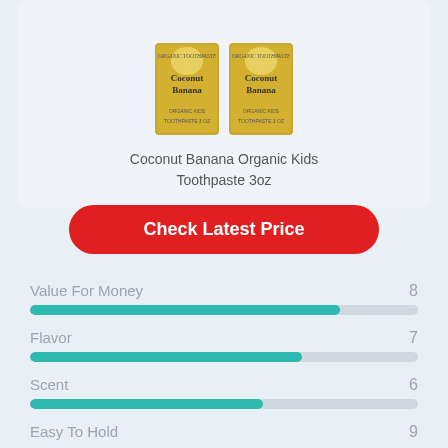[Figure (photo): Two boxes of Coconut Banana Organic Toothpaste (golden yellow packaging) shown side by side]
Coconut Banana Organic Kids Toothpaste 3oz
Check Latest Price
[Figure (bar-chart): Rating Scores]